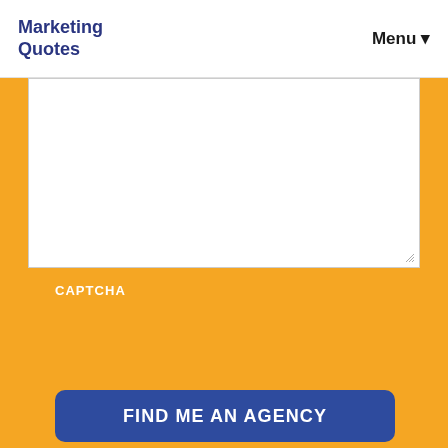Marketing Quotes  Menu
[Figure (screenshot): White textarea input box with resize handle in bottom-right corner, on orange background]
CAPTCHA
FIND ME AN AGENCY